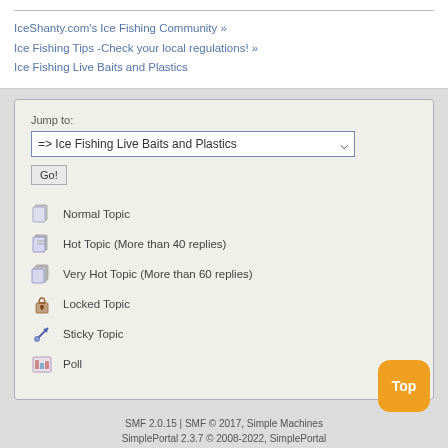IceShanty.com's Ice Fishing Community »
Ice Fishing Tips -Check your local regulations! »
Ice Fishing Live Baits and Plastics
Jump to:
=> Ice Fishing Live Baits and Plastics
Go!
Normal Topic
Hot Topic (More than 40 replies)
Very Hot Topic (More than 60 replies)
Locked Topic
Sticky Topic
Poll
SMF 2.0.15 | SMF © 2017, Simple Machines
SimplePortal 2.3.7 © 2008-2022, SimplePortal